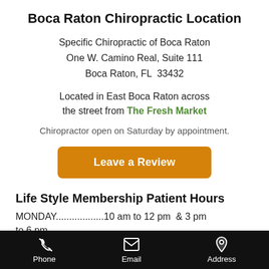Boca Raton Chiropractic Location
Specific Chiropractic of Boca Raton
One W. Camino Real, Suite 111
Boca Raton, FL  33432
Located in East Boca Raton across the street from The Fresh Market
Chiropractor open on Saturday by appointment.
[Figure (other): Orange button labeled 'Leave a Review']
Life Style Membership Patient Hours
MONDAY..................10 am to 12 pm  & 3 pm to 6 pm
Phone   Email   Address